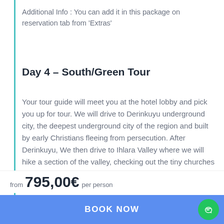Additional Info : You can add it in this package on reservation tab from 'Extras'
Day 4 – South/Green Tour
Your tour guide will meet you at the hotel lobby and pick you up for tour. We will drive to Derinkuyu underground city, the deepest underground city of the region and built by early Christians fleeing from persecution. After Derinkuyu, We then drive to Ihlara Valley where we will hike a section of the valley, checking out the tiny churches cut into the rocks, along the way. We will then have some chill time and lunch before heading to Selime Monastery, the biggest rock-cut cathedral in Cappadocia. After the tour you will be transferred back to hotel. Overnight in
from 795,00€ per person
BOOK NOW